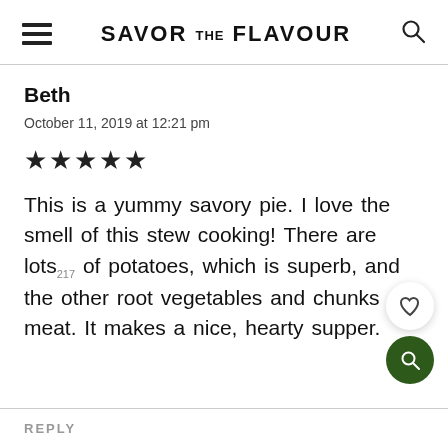SAVOR THE FLAVOUR
Beth
October 11, 2019 at 12:21 pm
★★★★★
This is a yummy savory pie. I love the smell of this stew cooking! There are lots of potatoes, which is superb, and the other root vegetables and chunks of meat. It makes a nice, hearty supper.
REPLY